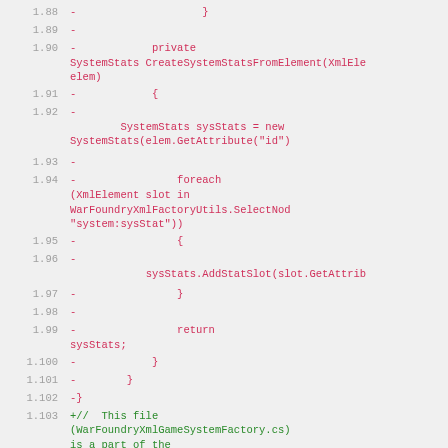Code diff showing removed lines (red) and added lines (green) for WarFoundryXmlGameSystemFactory.cs, lines 1.88-1.103
1.88  -     }
1.89  -
1.90  -         private SystemStats CreateSystemStatsFromElement(XmlElement elem)
1.91  -         {
1.92  -
        SystemStats sysStats = new SystemStats(elem.GetAttribute("id")
1.93  -
1.94  -             foreach (XmlElement slot in WarFoundryXmlFactoryUtils.SelectNodes("system:sysStat"))
1.95  -             {
1.96  -
            sysStats.AddStatSlot(slot.GetAttrib
1.97  -             }
1.98  -
1.99  -             return sysStats;
1.100 -         }
1.101 -     }
1.102 -}
1.103 +//  This file (WarFoundryXmlGameSystemFactory.cs) is a part of the